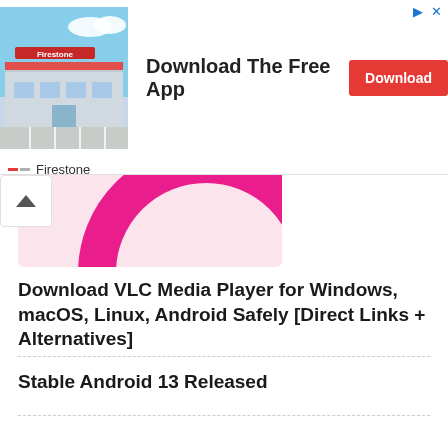[Figure (photo): Advertisement banner with a Firestone store photo, 'Download The Free App' headline, red Download button, and Firestone brand name with red/gray dashes]
[Figure (illustration): Partial pink and magenta circle graphic, partially cropped at top of visible area, with a white up-arrow chevron button overlay]
Download VLC Media Player for Windows, macOS, Linux, Android Safely [Direct Links + Alternatives]
Stable Android 13 Released